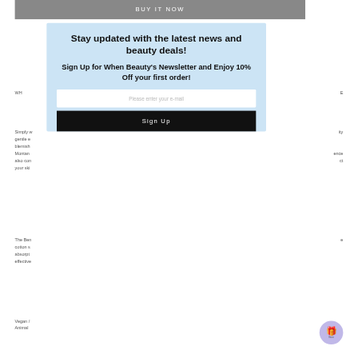BUY IT NOW
WH... E
Simply w... ity gentle e... blemish... Montan... ence also con... ct your ski...
The Ben... e cotton s... absorpt... effective...
Vegan / Animal...
Stay updated with the latest news and beauty deals!
Sign Up for When Beauty's Newsletter and Enjoy 10% Off your first order!
Please enter your e-mail
Sign Up